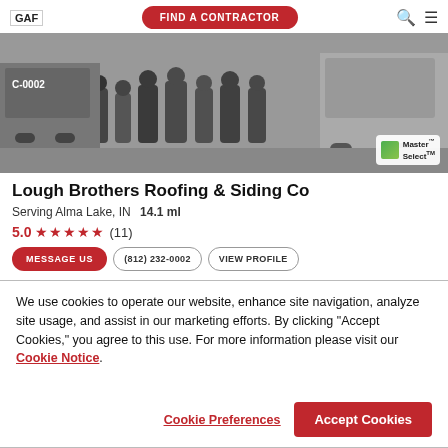GAF | FIND A CONTRACTOR
[Figure (photo): Black and white vintage photo of a group of workers posing in front of a truck labeled C-0002, with a Master Select badge overlay in the bottom right corner.]
Lough Brothers Roofing & Siding Co
Serving Alma Lake, IN   14.1 ml
5.0 ★★★★★ (11)
MESSAGE US   (812) 232-0002   VIEW PROFILE
We use cookies to operate our website, enhance site navigation, analyze site usage, and assist in our marketing efforts. By clicking "Accept Cookies," you agree to this use. For more information please visit our Cookie Notice.
Cookie Preferences   Accept Cookies